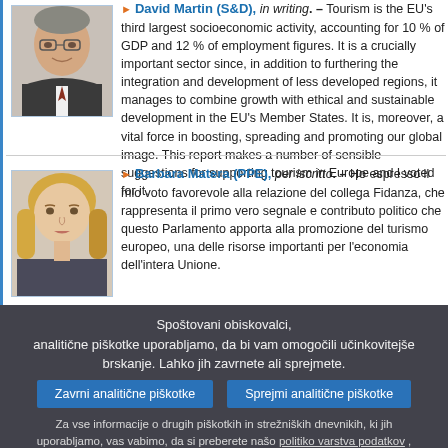David Martin (S&D), in writing. – Tourism is the EU's third largest socioeconomic activity, accounting for 10 % of GDP and 12 % of employment figures. It is a crucially important sector since, in addition to furthering the integration and development of less developed regions, it manages to combine growth with ethical and sustainable development in the EU's Member States. It is, moreover, a vital force in boosting, spreading and promoting our global image. This report makes a number of sensible suggestions for supporting tourism in Europe and I voted for it.
[Figure (photo): Photo of David Martin MEP (S&D), male, wearing suit and tie]
Barbara Matera (PPE), per iscritto. – Ho espresso il mio voto favorevole alla relazione del collega Fidanza, che rappresenta il primo vero segnale e contributo politico che questo Parlamento apporta alla promozione del turismo europeo, una delle risorse importanti per l'economia dell'intera Unione.
[Figure (photo): Photo of Barbara Matera MEP (PPE), female with blonde hair]
Spoštovani obiskovalci,
analitične piškotke uporabljamo, da bi vam omogočili učinkovitejše brskanje. Lahko jih zavrnete ali sprejmete.
Zavrni analitične piškotke
Sprejmi analitične piškotke
Za vse informacije o drugih piškotkih in strežniških dnevnikih, ki jih uporabljamo, vas vabimo, da si preberete našo politiko varstva podatkov , našo politiko piškotkov in naš seznam piškotkov.